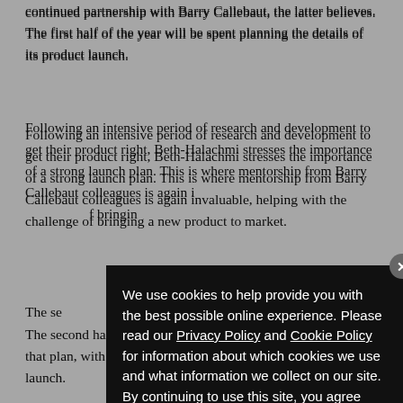continued partnership with Barry Callebaut, the latter believes. The first half of the year will be spent planning the details of its product launch.
Following an intensive period of research and development to get their product right, Beth-Halachmi stresses the importance of a strong launch plan. This is where mentorship from Barry Callebaut colleagues is again i[nvaluable, helping with the challenge o]f bringin[g a new product to market.]
The se[cond half of the year will focus on helping them] execut[e that plan, with the firm making progress in] g their produc[t launch.]
“It has [been a remarkable and rewarding partners]hip with Bo[…illuminati, says Beth-Halachmi. illumin]mi.
[Figure (screenshot): Cookie consent modal dialog with dark background. Text reads: 'We use cookies to help provide you with the best possible online experience. Please read our Privacy Policy and Cookie Policy for information about which cookies we use and what information we collect on our site. By continuing to use this site, you agree that we may store and access cookies on your device.' Blue 'I AGREE' button at bottom left. Close button (X) at top right.]